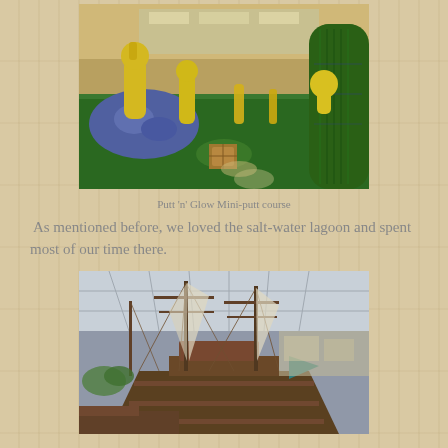[Figure (photo): Indoor mini-putt course with colourful yellow and green decorations, cactus props, green artificial turf, viewed from one end of the course inside a shopping mall]
Putt 'n' Glow Mini-putt course
As mentioned before, we loved the salt-water lagoon and spent most of our time there.
[Figure (photo): Large tall-ship replica inside a shopping mall atrium with glass roof, surrounded by masts, rigging, and a teal flag visible at right]